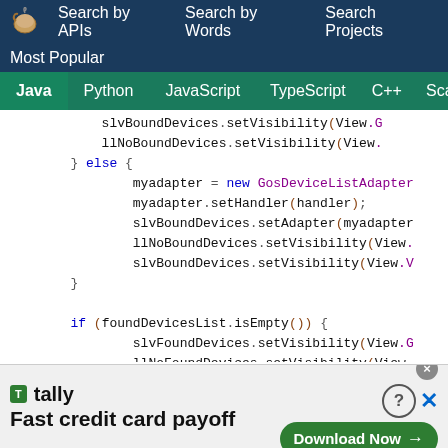Search by APIs   Search by Words   Search Projects
Most Popular
Java   Python   JavaScript   TypeScript   C++   Scala
[Figure (screenshot): Java code snippet showing setVisibility and adapter setup logic with if/else blocks]
[Figure (infographic): Tally advertisement banner: Fast credit card payoff, Download Now button]